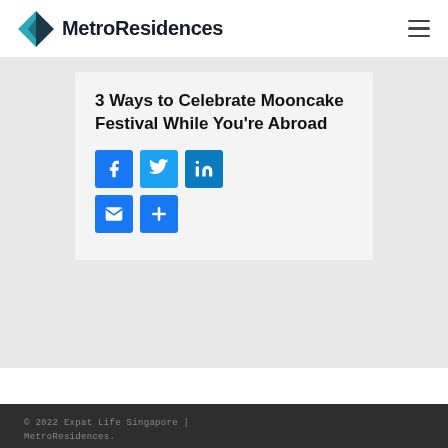MetroResidences
3 Ways to Celebrate Mooncake Festival While You're Abroad
[Figure (infographic): Social sharing buttons: Facebook, Twitter, LinkedIn, Email, and a plus/share button]
© 2022 Expat Life Singapore | MetroResidences.